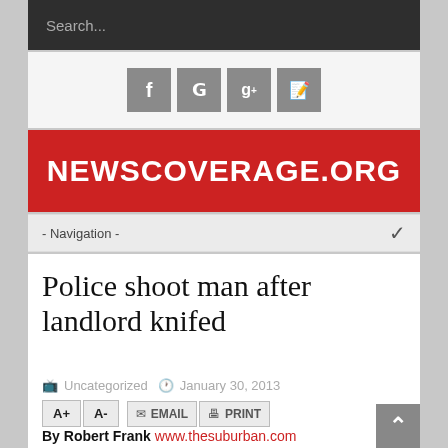Search...
[Figure (other): Social media icons: Facebook, Twitter, Google+, Blogger]
NEWSCOVERAGE.ORG
- Navigation -
Police shoot man after landlord knifed
Uncategorized  January 30, 2013
A+  A-  EMAIL  PRINT
By Robert Frank www.thesuburban.com